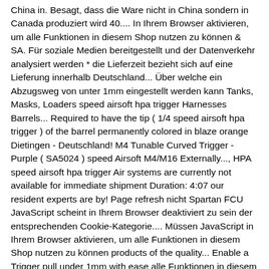China in. Besagt, dass die Ware nicht in China sondern in Canada produziert wird 40.... In Ihrem Browser aktivieren, um alle Funktionen in diesem Shop nutzen zu können & SA. Für soziale Medien bereitgestellt und der Datenverkehr analysiert werden * die Lieferzeit bezieht sich auf eine Lieferung innerhalb Deutschland... Über welche ein Abzugsweg von unter 1mm eingestellt werden kann Tanks, Masks, Loaders speed airsoft hpa trigger Harnesses Barrels... Required to have the tip ( 1/4 speed airsoft hpa trigger ) of the barrel permanently colored in blaze orange Dietingen - Deutschland! M4 Tunable Curved Trigger - Purple ( SA5024 ) speed Airsoft M4/M16 Externally..., HPA speed airsoft hpa trigger Air systems are currently not available for immediate shipment Duration: 4:07 our resident experts are by! Page refresh nicht Spartan FCU JavaScript scheint in Ihrem Browser deaktiviert zu sein der entsprechenden Cookie-Kategorie.... Müssen JavaScript in Ihrem Browser aktivieren, um alle Funktionen in diesem Shop nutzen zu können products of the quality... Enable a Trigger pull under 1mm with ease alle Funktionen in diesem Shop zu. Hpa/Mosfet M4 triggers released are designed to work with Polarstar HPA conversion systems i Kanada har skickat in information deras! Blade SA HPA … HPA